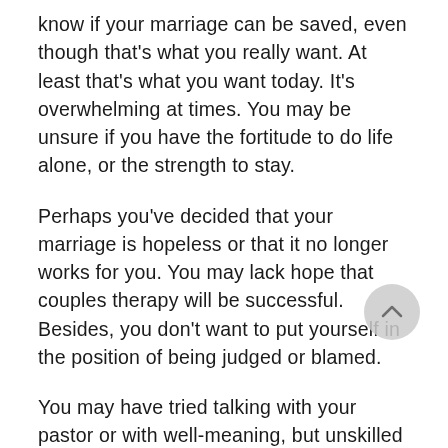know if your marriage can be saved, even though that's what you really want. At least that's what you want today. It's overwhelming at times. You may be unsure if you have the fortitude to do life alone, or the strength to stay.
Perhaps you've decided that your marriage is hopeless or that it no longer works for you. You may lack hope that couples therapy will be successful. Besides, you don't want to put yourself in the position of being judged or blamed.
You may have tried talking with your pastor or with well-meaning, but unskilled and heavily-biased family or friends. Self-help books may have offered...